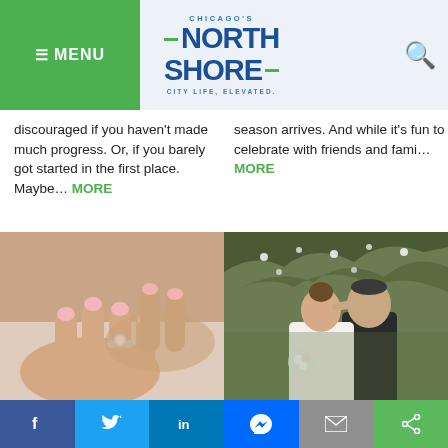MENU | Chicago's North Shore - City Life, Elevated.
discouraged if you haven't made much progress. Or, if you barely got started in the first place. Maybe... MORE
season arrives. And while it's fun to celebrate with friends and fami... MORE
[Figure (photo): Close-up photo of a woman's hand with a diamond engagement ring and pink manicure]
[Figure (photo): Photo of a bride and groom in a garden setting with trees in bloom]
Best Places to Get Pampered Before Your
Top Service Suppliers for Your Wedding Day
Facebook | Twitter | LinkedIn | Messenger | Email | Share